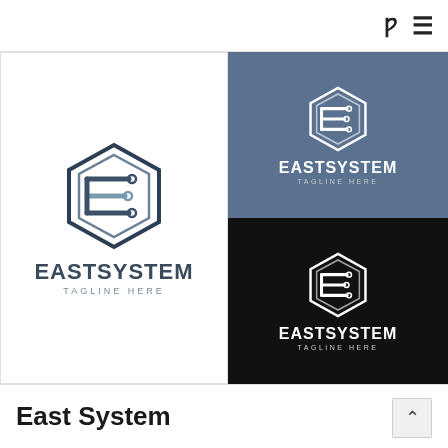Navigation bar with icons
[Figure (logo): East System logo on white background: hexagonal circuit-board 'E' icon in dark navy, with 'EASTSYSTEM' bold text and 'TAGLINE HERE' below]
[Figure (logo): East System logo on steel-blue background: white hexagonal circuit-board 'E' icon with 'EASTSYSTEM' and 'TAGLINE HERE' in white]
[Figure (logo): East System logo on black background: white hexagonal circuit-board 'E' icon with 'EASTSYSTEM' and 'TAGLINE HERE' in white]
East System